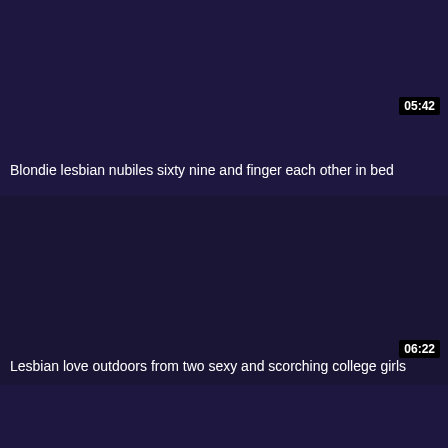[Figure (screenshot): Dark navy/purple video thumbnail placeholder, first video block]
05:42
Blondie lesbian nubiles sixty nine and finger each other in bed
[Figure (screenshot): Dark navy/purple video thumbnail placeholder, second video block]
06:22
Lesbian love outdoors from two sexy and scorching college girls
[Figure (screenshot): Dark navy/purple video thumbnail placeholder, third partial video block]